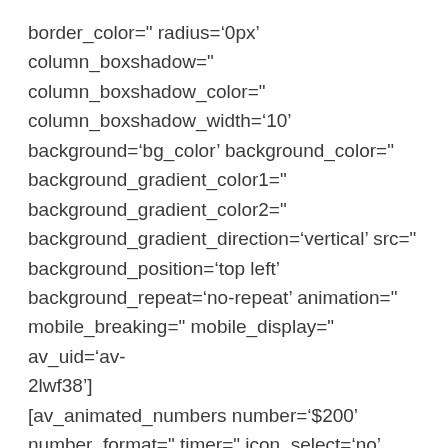border_color=" radius='0px' column_boxshadow=" column_boxshadow_color=" column_boxshadow_width='10' background='bg_color' background_color=" background_gradient_color1=" background_gradient_color2=" background_gradient_direction='vertical' src=" background_position='top left' background_repeat='no-repeat' animation=" mobile_breaking=" mobile_display=" av_uid='av-2lwf38'] [av_animated_numbers number='$200' number_format=" timer=" icon_select='no' icon='ue800' font='entypo-fontello' link="